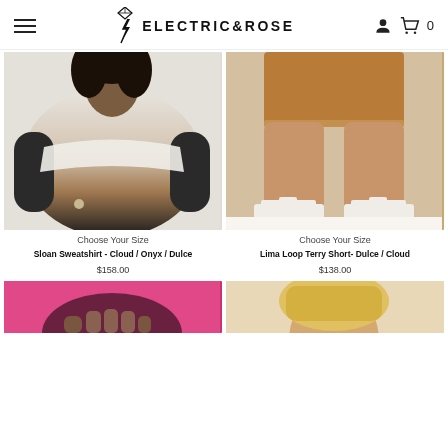Electric & Rose - navigation header with hamburger menu, logo, user icon, and cart (0)
[Figure (photo): Model wearing Sloan Sweatshirt in Cloud/Onyx/Dulce - white to brown to black tie-dye sweatshirt]
Choose Your Size
Sloan Sweatshirt - Cloud / Onyx / Dulce
$158.00
[Figure (photo): Model wearing Lima Loop Terry Short in Dulce/Cloud - tan/camel colored shorts with white sandals]
Choose Your Size
Lima Loop Terry Short- Dulce / Cloud
$138.00
[Figure (photo): Partially visible product image - pink color at bottom of page, left column]
[Figure (photo): Partially visible product image - blonde model at bottom of page, right column]